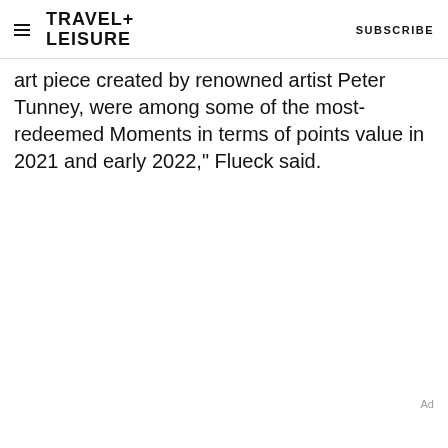TRAVEL+ LEISURE   SUBSCRIBE
art piece created by renowned artist Peter Tunney, were among some of the most-redeemed Moments in terms of points value in 2021 and early 2022," Flueck said.
Ad